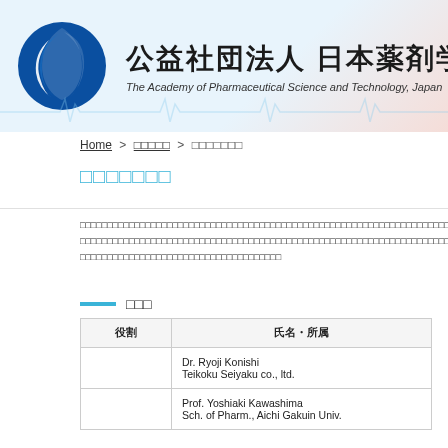[Figure (logo): Academy of Pharmaceutical Science and Technology Japan logo with blue circular emblem and Japanese/English organization name, plus orange hamburger menu button in top right]
Home > □□□□□ > □□□□□□□
□□□□□□□
□□□□□□□□□□□□□□□□□□□□□□□□□□□□□□□□□□□□□□□□□□□□□□□□□□□□□□□□□□□□□□□□□□□□□□□□□□□□□□□□□□□□□□□□□□□□□□□□□□□□□□□□□□□□□□□□□□□□□□□□□□□□□□□□□□□□□□□□□□□□□□□□□□□□□□□□□□□□□□□□□□□□□□□□□□□□□□□□□□□□□□□□□□□□□□□□□□□□□□□□□□□□□□□□□□□□□□□□□□□□□□□□□□□□□□□□□□□□□□□□□□□□□□□□□□□□□□□□□
□□□
| 役割 | 氏名・所属 |
| --- | --- |
|  | Dr. Ryoji Konishi
Teikoku Seiyaku co., ltd. |
|  | Prof. Yoshiaki Kawashima
Sch. of Pharm., Aichi Gakuin Univ. |